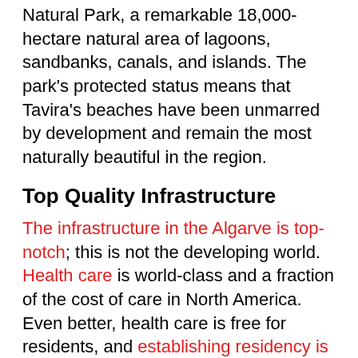Natural Park, a remarkable 18,000-hectare natural area of lagoons, sandbanks, canals, and islands. The park's protected status means that Tavira's beaches have been unmarred by development and remain the most naturally beautiful in the region.
Top Quality Infrastructure
The infrastructure in the Algarve is top-notch; this is not the developing world. Health care is world-class and a fraction of the cost of care in North America. Even better, health care is free for residents, and establishing residency is easy and cheap for anyone of any age.
The monarchs of Portugal and England married each other from the 14th century on, creating the oldest alliance in Europe. As a result, English is